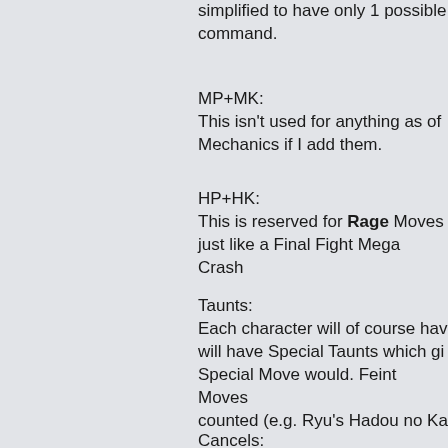simplified to have only 1 possible command.
MP+MK:
This isn't used for anything as of Mechanics if I add them.
HP+HK:
This is reserved for Rage Moves just like a Final Fight Mega Crash
Taunts:
Each character will of course have will have Special Taunts which gi Special Move would. Feint Moves counted (e.g. Ryu's Hadou no Ka
Cancels:
These work like in the SF2 and A cancel from Normals into Specia I feel this works fine as it is, but I feedback's not for it, likely after th
Supers: